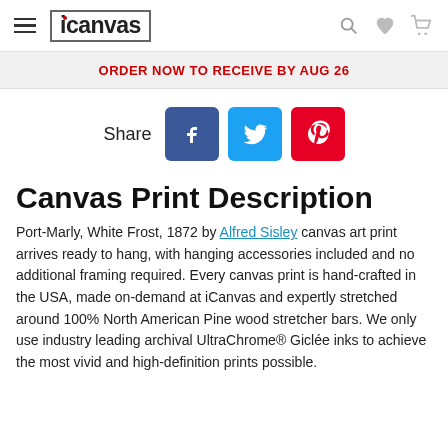icanvas — navigation header with hamburger menu, logo, search, wishlist, cart
ORDER NOW TO RECEIVE BY AUG 26
[Figure (infographic): Share buttons: Share label followed by Facebook, Twitter, and Pinterest social media icons]
Canvas Print Description
Port-Marly, White Frost, 1872 by Alfred Sisley canvas art print arrives ready to hang, with hanging accessories included and no additional framing required. Every canvas print is hand-crafted in the USA, made on-demand at iCanvas and expertly stretched around 100% North American Pine wood stretcher bars. We only use industry leading archival UltraChrome® Giclée inks to achieve the most vivid and high-definition prints possible.